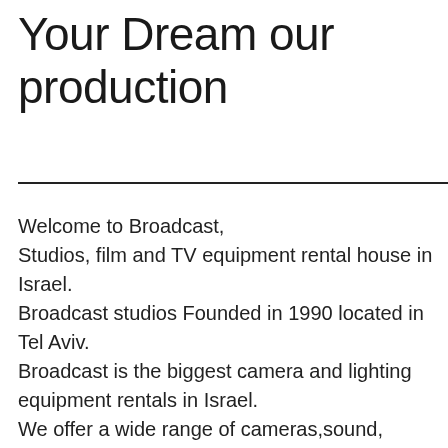Your Dream our production
Welcome to Broadcast,
Studios, film and TV equipment rental house in Israel. Broadcast studios Founded in 1990 located in Tel Aviv.
Broadcast is the biggest camera and lighting equipment rentals in Israel.
We offer a wide range of cameras,sound, lighting and grip equipment. Our Studios are the biggest TV and film studios that you can find in Israel. Broadcast offers the newest technology that you can find in the market.